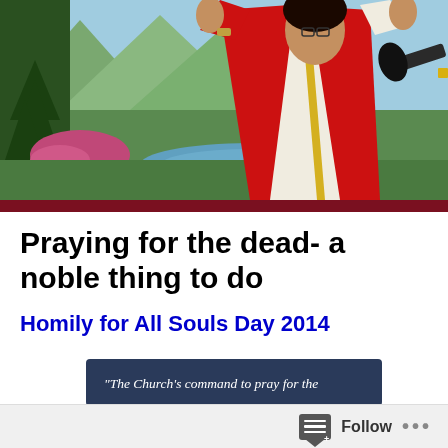[Figure (photo): A priest in red vestments with arms raised at a microphone, with a scenic mountain/lake background]
Praying for the dead- a noble thing to do
Homily for All Souls Day 2014
"The Church's command to pray for the
Follow ...